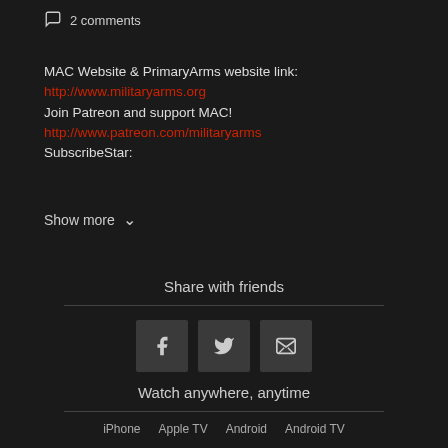2 comments
MAC Website & PrimaryArms website link:
http://www.militaryarms.org
Join Patreon and support MAC!
http://www.patreon.com/militaryarms
SubscribeStar:
Show more
Share with friends
[Figure (infographic): Three share buttons: Facebook (f), Twitter (bird), Email (envelope)]
Watch anywhere, anytime
iPhone   Apple TV   Android   Android TV